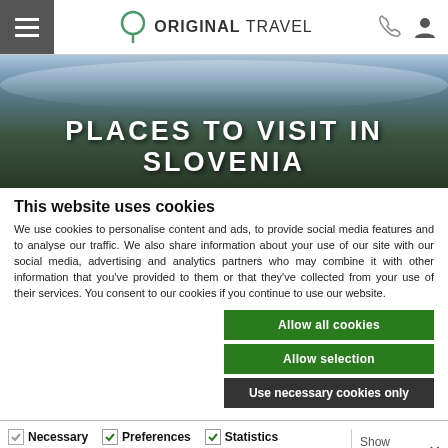ORIGINAL TRAVEL
[Figure (photo): Mountain landscape with clouds — header image for Places to Visit in Slovenia page]
PLACES TO VISIT IN SLOVENIA
This website uses cookies
We use cookies to personalise content and ads, to provide social media features and to analyse our traffic. We also share information about your use of our site with our social media, advertising and analytics partners who may combine it with other information that you've provided to them or that they've collected from your use of their services. You consent to our cookies if you continue to use our website.
Allow all cookies
Allow selection
Use necessary cookies only
Necessary  Preferences  Statistics  Marketing  Show details